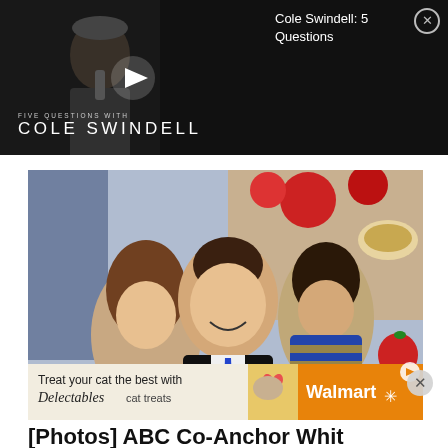[Figure (screenshot): Video thumbnail for 'Five Questions with Cole Swindell' showing a dark concert/performance scene with a play button overlay]
Cole Swindell: 5 Questions
[Figure (photo): ABC co-anchor Whit Johnson smiling with two young girls, one on each side, taken in a colorful studio setting with holiday decorations in the background. An overlaid Walmart/Delectables cat treats advertisement appears at the bottom of the photo.]
[Photos] ABC Co-Anchor Whit Johnson Took a